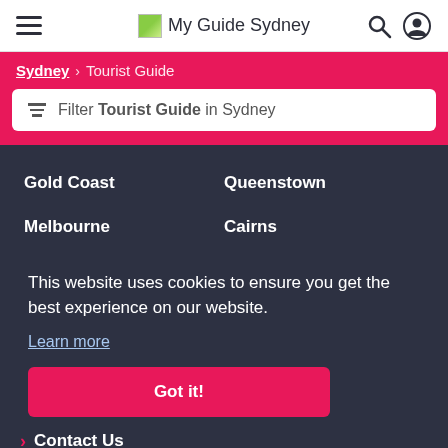My Guide Sydney
Sydney > Tourist Guide
Filter Tourist Guide in Sydney
Gold Coast
Queenstown
Melbourne
Cairns
This website uses cookies to ensure you get the best experience on our website.
Learn more
Got it!
Contact Us